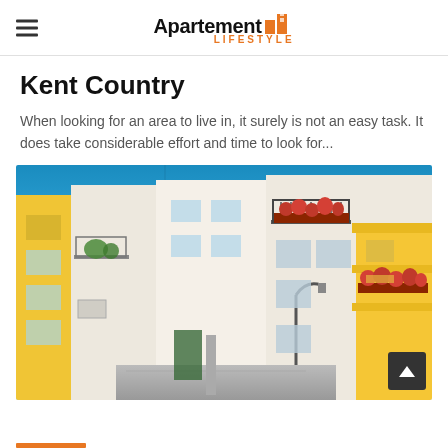Apartement Lifestyle
Kent Country
When looking for an area to live in, it surely is not an easy task. It does take considerable effort and time to look for...
[Figure (photo): Street view of colorful Mediterranean-style buildings with yellow facades, white walls, balconies with red flowers, green plants, under a bright blue sky]